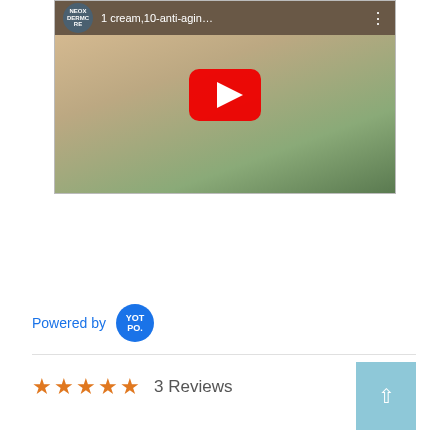[Figure (screenshot): YouTube video thumbnail showing a woman in a white top with a plant in the background. Video title reads '1 cream,10-anti-agin...' with NEOX DERMORE channel logo and a red YouTube play button. Three-dot menu icon on the right.]
Powered by YOTPO
3 Reviews